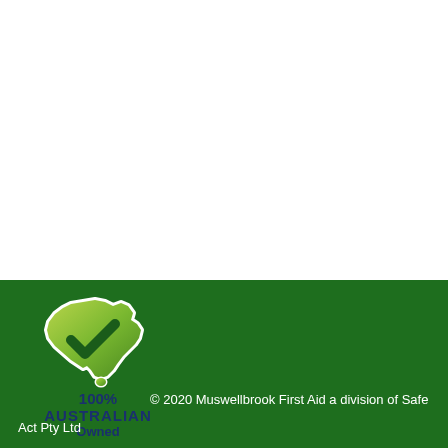[Figure (logo): Australia map shape in green gradient with a dark green checkmark overlaid, forming a '100% Australian Owned' logo badge with white border outline]
100% AUSTRALIAN Owned
© 2020 Muswellbrook First Aid a division of Safe Act Pty Ltd